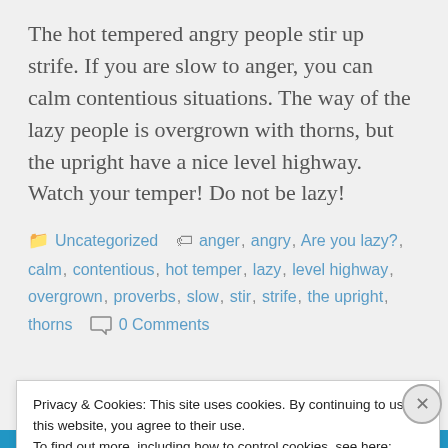The hot tempered angry people stir up strife. If you are slow to anger, you can calm contentious situations. The way of the lazy people is overgrown with thorns, but the upright have a nice level highway. Watch your temper! Do not be lazy!
Uncategorized  anger, angry, Are you lazy?, calm, contentious, hot temper, lazy, level highway, overgrown, proverbs, slow, stir, strife, the upright, thorns  0 Comments
Privacy & Cookies: This site uses cookies. By continuing to use this website, you agree to their use.
To find out more, including how to control cookies, see here: Cookie Policy
Close and accept